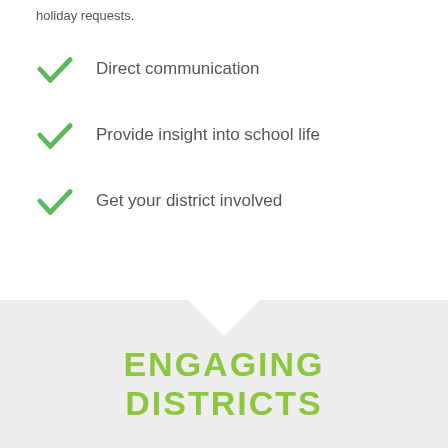holiday requests.
Direct communication
Provide insight into school life
Get your district involved
ENGAGING DISTRICTS